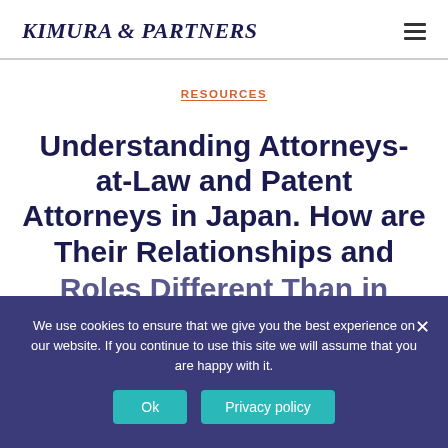KIMURA & PARTNERS
RESOURCES
Understanding Attorneys-at-Law and Patent Attorneys in Japan. How are Their Relationships and Roles Different Than in Other Countries?
We use cookies to ensure that we give you the best experience on our website. If you continue to use this site we will assume that you are happy with it.
By Takaike Kimura — February 12, 2021